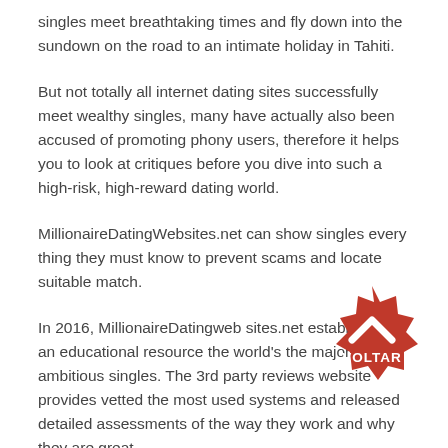singles meet breathtaking times and fly down into the sundown on the road to an intimate holiday in Tahiti.
But not totally all internet dating sites successfully meet wealthy singles, many have actually also been accused of promoting phony users, therefore it helps you to look at critiques before you dive into such a high-risk, high-reward dating world.
MillionaireDatingWebsites.net can show singles every thing they must know to prevent scams and locate suitable match.
In 2016, MillionaireDatingwebsites.net established as an educational resource the world's the majority of ambitious singles. The 3rd party reviews website provides vetted the most used systems and released detailed assessments of the way they work and why they are great.
[Figure (other): Red badge/stamp button with upward chevron arrow and text VOLTAR]